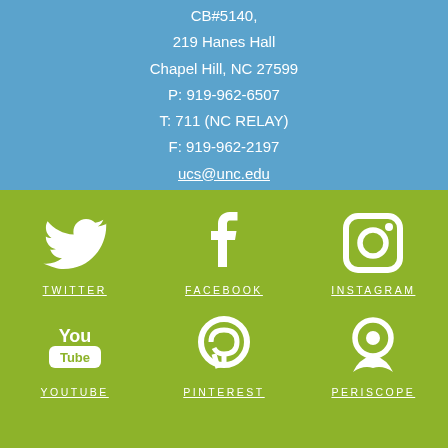CB#5140,
219 Hanes Hall
Chapel Hill, NC 27599
P: 919-962-6507
T: 711 (NC RELAY)
F: 919-962-2197
ucs@unc.edu
[Figure (infographic): Social media icons on green background: Twitter, Facebook, Instagram, YouTube, Pinterest, Periscope]